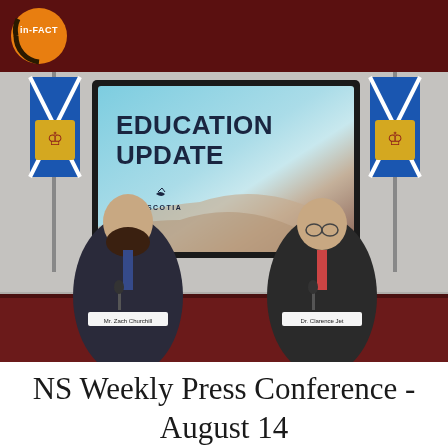in-FACT
[Figure (photo): Press conference screenshot showing two officials seated at a dark red desk in front of a Nova Scotia 'Education Update' presentation slide on a screen, flanked by Nova Scotia flags.]
NS Weekly Press Conference - August 14